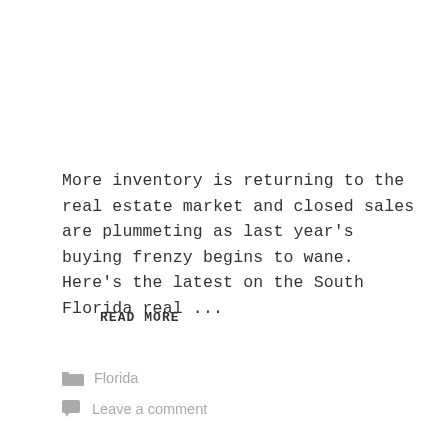More inventory is returning to the real estate market and closed sales are plummeting as last year's buying frenzy begins to wane. Here's the latest on the South Florida real ...
READ MORE
Florida
Leave a comment